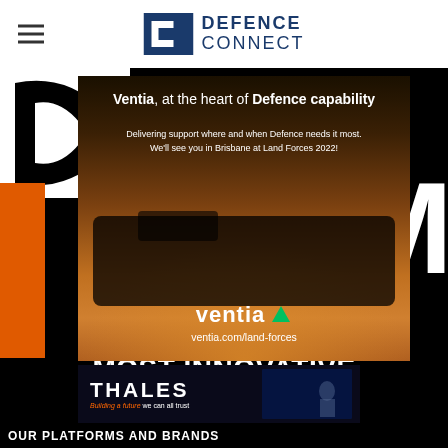[Figure (logo): Defence Connect logo with hamburger menu icon in the header]
[Figure (advertisement): Ventia advertisement: 'Ventia, at the heart of Defence capability. Delivering support where and when Defence needs it most. We'll see you in Brisbane at Land Forces 2022! ventia.com/land-forces']
[Figure (infographic): Dark background with partial large letters C, N shape in orange, M in white. Text reads 'FINANCIAL REVIEW BOSS' and 'MOST INNOVATIVE']
[Figure (advertisement): Thales advertisement: 'THALES - Building a future we can all trust']
OUR PLATFORMS AND BRANDS